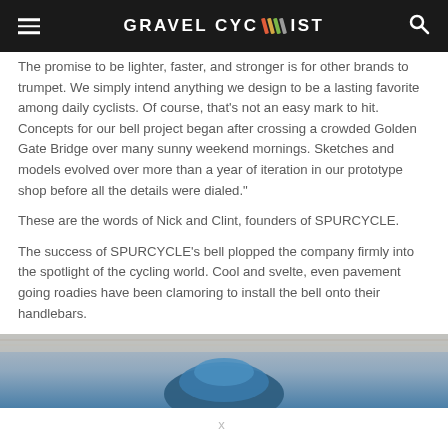GRAVEL CYCLIST
The promise to be lighter, faster, and stronger is for other brands to trumpet. We simply intend anything we design to be a lasting favorite among daily cyclists. Of course, that’s not an easy mark to hit. Concepts for our bell project began after crossing a crowded Golden Gate Bridge over many sunny weekend mornings. Sketches and models evolved over more than a year of iteration in our prototype shop before all the details were dialed.”
These are the words of Nick and Clint, founders of SPURCYCLE.
The success of SPURCYCLE’s bell plopped the company firmly into the spotlight of the cycling world. Cool and svelte, even pavement going roadies have been clamoring to install the bell onto their handlebars.
[Figure (photo): Partial photo of a blue SPURCYCLE bell on a wooden surface]